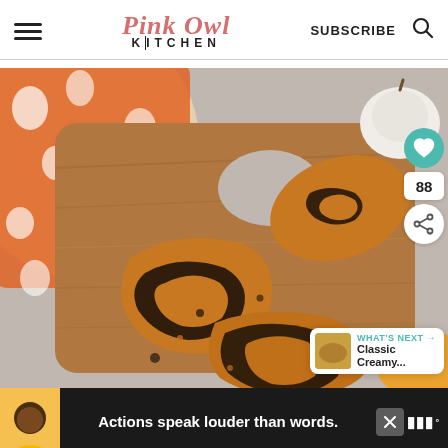Pink Owl Kitchen — SUBSCRIBE
[Figure (photo): Slices of orange and black marbled pumpkin bread on a wooden cutting board, with an orange floral cloth and white pumpkin in background]
WHAT'S NEXT → Classic Creamy...
Actions speak louder than words.